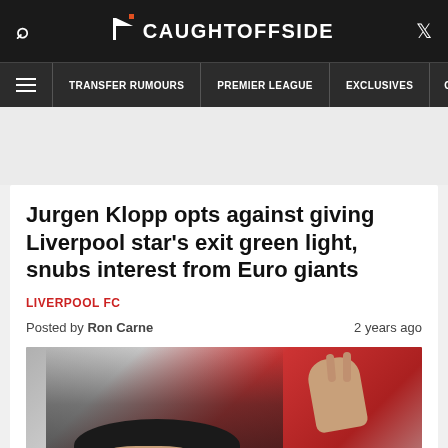CAUGHTOFFSIDE
TRANSFER RUMOURS | PREMIER LEAGUE | EXCLUSIVES | COLUMNISTS
Jurgen Klopp opts against giving Liverpool star's exit green light, snubs interest from Euro giants
LIVERPOOL FC
Posted by Ron Carne    2 years ago
[Figure (photo): Photo of Jurgen Klopp wearing a dark baseball cap with Liverpool FC badge, raising his hand, with a red blurred background]